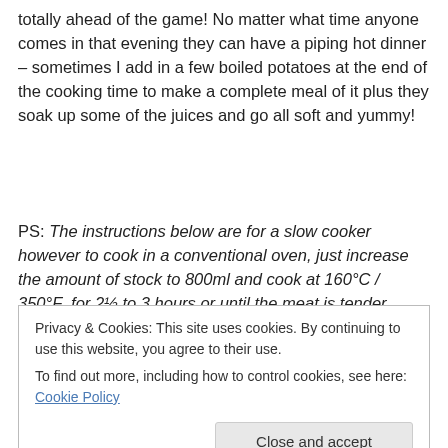totally ahead of the game! No matter what time anyone comes in that evening they can have a piping hot dinner – sometimes I add in a few boiled potatoes at the end of the cooking time to make a complete meal of it plus they soak up some of the juices and go all soft and yummy!
PS: The instructions below are for a slow cooker however to cook in a conventional oven, just increase the amount of stock to 800ml and cook at 160°C / 350°F  for 2½ to 3 hours or until the meat is tender.
Continue reading
Privacy & Cookies: This site uses cookies. By continuing to use this website, you agree to their use.
To find out more, including how to control cookies, see here: Cookie Policy